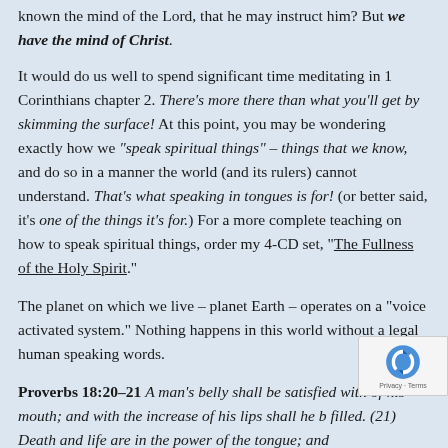known the mind of the Lord, that he may instruct him? But we have the mind of Christ.
It would do us well to spend significant time meditating in 1 Corinthians chapter 2. There's more there than what you'll get by skimming the surface! At this point, you may be wondering exactly how we "speak spiritual things" – things that we know, and do so in a manner the world (and its rulers) cannot understand. That's what speaking in tongues is for! (or better said, it's one of the things it's for.) For a more complete teaching on how to speak spiritual things, order my 4-CD set, "The Fullness of the Holy Spirit."
The planet on which we live – planet Earth – operates on a "voice activated system." Nothing happens in this world without a legal human speaking words.
Proverbs 18:20–21  A man's belly shall be satisfied with of his mouth; and with the increase of his lips shall he b filled. (21) Death and life are in the power of the tongue; and